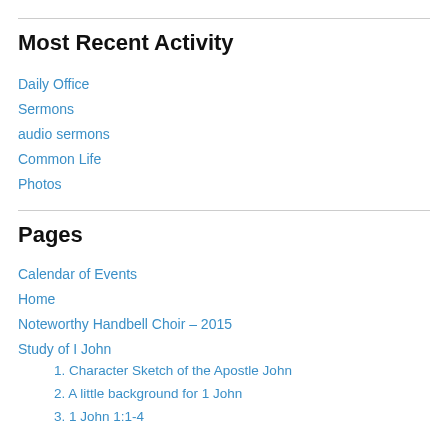Most Recent Activity
Daily Office
Sermons
audio sermons
Common Life
Photos
Pages
Calendar of Events
Home
Noteworthy Handbell Choir – 2015
Study of I John
1. Character Sketch of the Apostle John
2. A little background for 1 John
3. 1 John 1:1-4